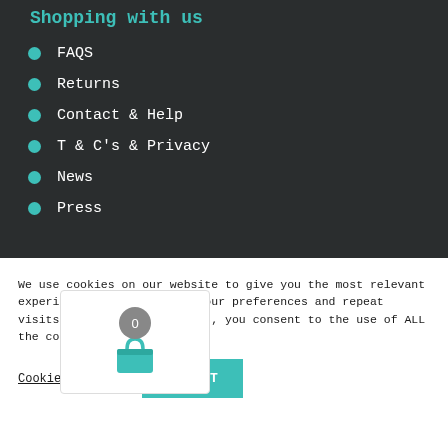Shopping with us
FAQS
Returns
Contact & Help
T & C's & Privacy
News
Press
We use cookies on our website to give you the most relevant experience by remembering your preferences and repeat visits. By clicking "Accept", you consent to the use of ALL the cookies.
Cookie settings   ACCEPT